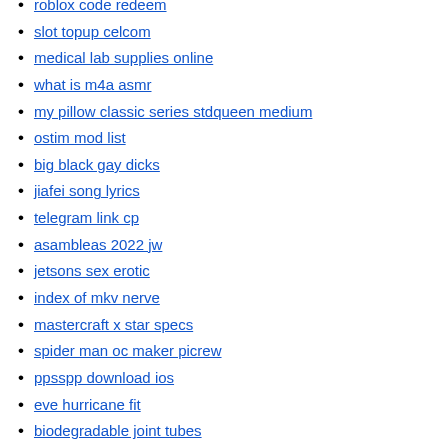roblox code redeem
slot topup celcom
medical lab supplies online
what is m4a asmr
my pillow classic series stdqueen medium
ostim mod list
big black gay dicks
jiafei song lyrics
telegram link cp
asambleas 2022 jw
jetsons sex erotic
index of mkv nerve
mastercraft x star specs
spider man oc maker picrew
ppsspp download ios
eve hurricane fit
biodegradable joint tubes
big ass sex girl
group video makcik sangap telegram
pokemon rmxp cheat engine
interactive cyoa worm
btc flashing apk
samsung m10 frp bypass 2021
walbrzych china history
wireless usb wifi adapter for pc